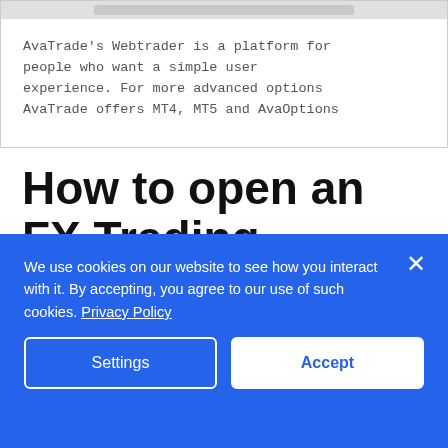[Figure (screenshot): Screenshot of AvaTrade Webtrader platform description in a browser window with a grey address bar at top. Text reads: AvaTrade's Webtrader is a platform for people who want a simple user experience. For more advanced options AvaTrade offers MT4, MT5 and AvaOptions]
How to open an FX Trading Account with AvaTrade in Somalia
We use cookies on our website to see how you interact with it. By accepting, you agree to our use of such cookies. Privacy Policy
Settings   Accept